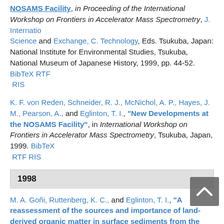NOSAMS Facility", in Proceeding of the International Workshop on Frontiers in Accelerator Mass Spectrometry, J. Internatio Science and Exchange, C. Technology, Eds. Tsukuba, Japan: National Institute for Environmental Studies, Tsukuba, National Museum of Japanese History, 1999, pp. 44-52. BibTeX RTF RIS
K. F. von Reden, Schneider, R. J., McNichol, A. P., Hayes, J. M., Pearson, A., and Eglinton, T. I., "New Developments at the NOSAMS Facility", in International Workshop on Frontiers in Accelerator Mass Spectrometry, Tsukuba, Japan, 1999. BibTeX RTF RIS
1998
M. A. Goñi, Ruttenberg, K. C., and Eglinton, T. I., "A reassessment of the sources and importance of land-derived organic matter in surface sediments from the Gulf of Mexico", Geochimica Et Cosmochimica Acta, vol. 62, no. 18, pp. 3055-3075, 1998. DOI BibTeX RTF RIS